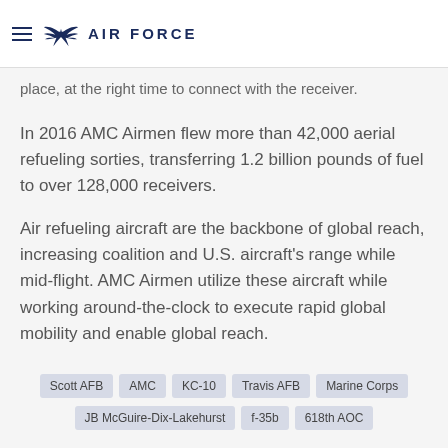AIR FORCE
place, at the right time to connect with the receiver.
In 2016 AMC Airmen flew more than 42,000 aerial refueling sorties, transferring 1.2 billion pounds of fuel to over 128,000 receivers.
Air refueling aircraft are the backbone of global reach, increasing coalition and U.S. aircraft's range while mid-flight. AMC Airmen utilize these aircraft while working around-the-clock to execute rapid global mobility and enable global reach.
Scott AFB
AMC
KC-10
Travis AFB
Marine Corps
JB McGuire-Dix-Lakehurst
f-35b
618th AOC